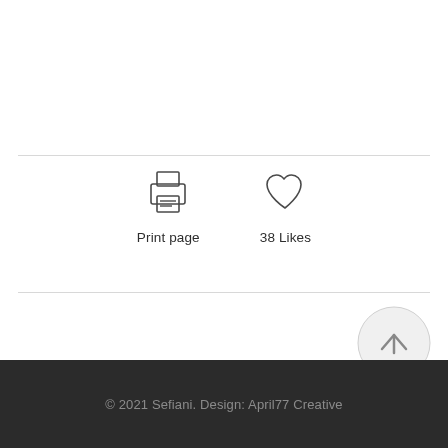[Figure (other): Print page icon (printer outline SVG) with label 'Print page']
[Figure (other): Heart/like icon (heart outline SVG) with label '38 Likes']
© 2021 Sefiani. Design: April77 Creative